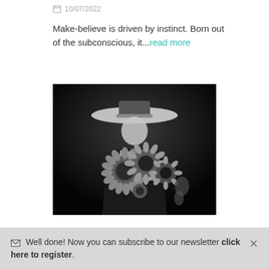10/07/2022
Make-believe is driven by instinct. Born out of the subconscious, it...read more
[Figure (photo): Black and white fashion photo of a person wearing a wide-brimmed hat, holding a large bouquet of sunflowers covering their face, dressed in dark clothing with a white corset-style piece.]
Well done! Now you can subscribe to our newsletter click here to register.